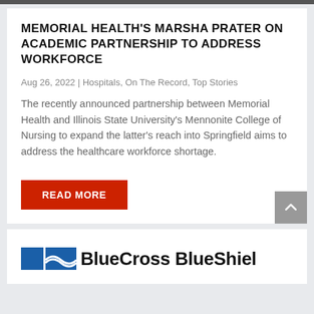MEMORIAL HEALTH'S MARSHA PRATER ON ACADEMIC PARTNERSHIP TO ADDRESS WORKFORCE
Aug 26, 2022 | Hospitals, On The Record, Top Stories
The recently announced partnership between Memorial Health and Illinois State University's Mennonite College of Nursing to expand the latter's reach into Springfield aims to address the healthcare workforce shortage.
[Figure (other): Red READ MORE button]
[Figure (logo): BlueCross BlueShield logo — partial view at bottom of page]